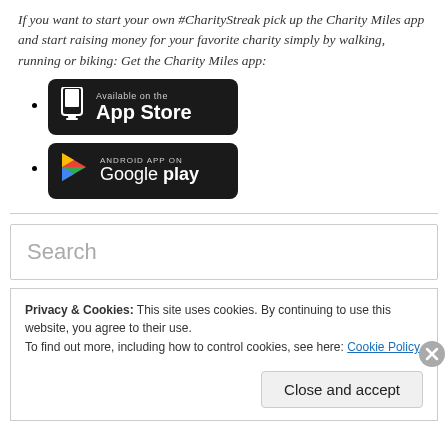If you want to start your own #CharityStreak pick up the Charity Miles app and start raising money for your favorite charity simply by walking, running or biking: Get the Charity Miles app:
[App Store badge]
[Google Play badge]
Search
Privacy & Cookies: This site uses cookies. By continuing to use this website, you agree to their use.
To find out more, including how to control cookies, see here: Cookie Policy
Close and accept